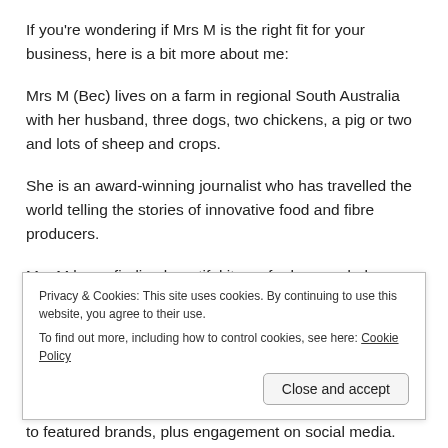If you're wondering if Mrs M is the right fit for your business, here is a bit more about me:
Mrs M (Bec) lives on a farm in regional South Australia with her husband, three dogs, two chickens, a pig or two and lots of sheep and crops.
She is an award-winning journalist who has travelled the world telling the stories of innovative food and fibre producers.
Mrs M loves finding beautiful items for her wardrobe, home and life. She shares this love through her blog (which you've found, yay), on Instagram (@MrsM_Loves) and Facebook
Privacy & Cookies: This site uses cookies. By continuing to use this website, you agree to their use.
To find out more, including how to control cookies, see here: Cookie Policy
to featured brands, plus engagement on social media.